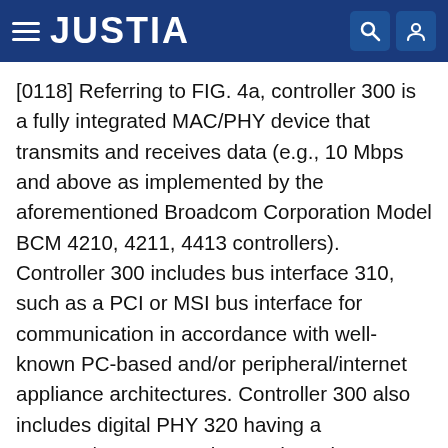JUSTIA
[0118] Referring to FIG. 4a, controller 300 is a fully integrated MAC/PHY device that transmits and receives data (e.g., 10 Mbps and above as implemented by the aforementioned Broadcom Corporation Model BCM 4210, 4211, 4413 controllers). Controller 300 includes bus interface 310, such as a PCI or MSI bus interface for communication in accordance with well-known PC-based and/or peripheral/internet appliance architectures. Controller 300 also includes digital PHY 320 having a FDQAM/QAM transmitter and receiver interfacing with the analog front end and MAC 330, coupling to bus interface 310 through transmit (TX) FIFO 340 and receive (RX) FIFO 350. Bus interface 310 also has the capability of similarly communicating with other devices 360, such as a v.90 modem through v.90 modem interface or a 10/100 Fast Ethernet bus through a 10/100 Fast Ethernet interface, and their respective transmit (TX) FIFO 370 and